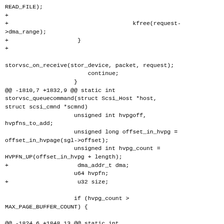READ_FILE);
+
+                                    kfree(request->dma_range);
+                    }
+

storvsc_on_receive(stor_device, packet, request);
                        continue;
                    }
@@ -1810,7 +1832,9 @@ static int storvsc_queuecommand(struct Scsi_Host *host, struct scsi_cmnd *scmnd)
                    unsigned int hvpgoff,
hvpfns_to_add;
                    unsigned long offset_in_hvpg =
offset_in_hvpage(sgl->offset);
                    unsigned int hvpg_count =
HVPFN_UP(offset_in_hvpg + length);
+                    dma_addr_t dma;
                    u64 hvpfn;
+                    u32 size;

                    if (hvpg_count >
MAX_PAGE_BUFFER_COUNT) {

@@ -1824,6 +1848,13 @@ static int storvsc_queuecommand(struct Scsi_Host *host, struct scsi_cmnd *scmnd)
                    payload->range.len = length;
                    payload->range.offset =